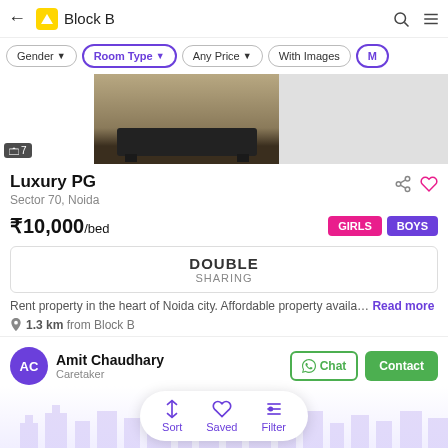Block B
Gender | Room Type | Any Price | With Images | Mo...
[Figure (photo): Property listing photo showing dark furniture item in center, gray panels on sides, photo count badge showing 7]
Luxury PG
Sector 70, Noida
₹10,000/bed
GIRLS  BOYS
DOUBLE SHARING
Rent property in the heart of Noida city. Affordable property availa… Read more
1.3 km from Block B
Amit Chaudhary
Caretaker
Chat  Contact